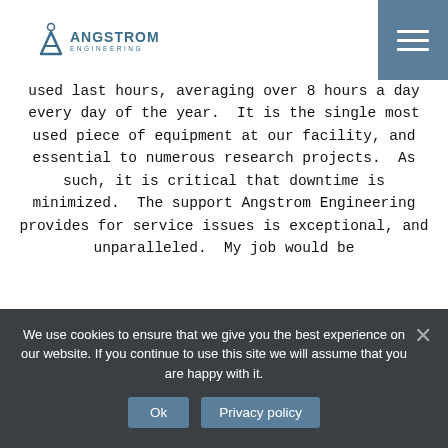[Figure (logo): Angstrom Engineering logo with stylized A and text]
used last hours, averaging over 8 hours a day every day of the year. It is the single most used piece of equipment at our facility, and essential to numerous research projects. As such, it is critical that downtime is minimized. The support Angstrom Engineering provides for service issues is exceptional, and unparalleled. My job would be
We use cookies to ensure that we give you the best experience on our website. If you continue to use this site we will assume that you are happy with it.